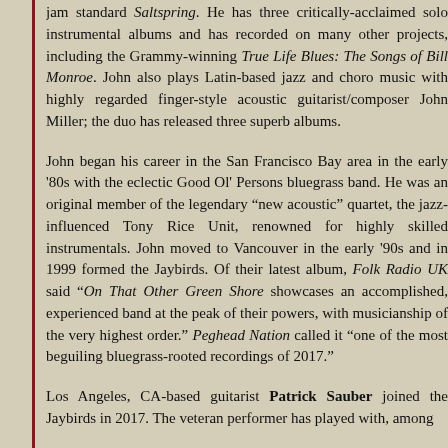jam standard Saltspring. He has three critically-acclaimed solo instrumental albums and has recorded on many other projects, including the Grammy-winning True Life Blues: The Songs of Bill Monroe. John also plays Latin-based jazz and choro music with highly regarded finger-style acoustic guitarist/composer John Miller; the duo has released three superb albums.
John began his career in the San Francisco Bay area in the early '80s with the eclectic Good Ol' Persons bluegrass band. He was an original member of the legendary "new acoustic" quartet, the jazz-influenced Tony Rice Unit, renowned for highly skilled instrumentals. John moved to Vancouver in the early '90s and in 1999 formed the Jaybirds. Of their latest album, Folk Radio UK said "On That Other Green Shore showcases an accomplished, experienced band at the peak of their powers, with musicianship of the very highest order." Peghead Nation called it "one of the most beguiling bluegrass-rooted recordings of 2017."
Los Angeles, CA-based guitarist Patrick Sauber joined the Jaybirds in 2017. The veteran performer has played with, among